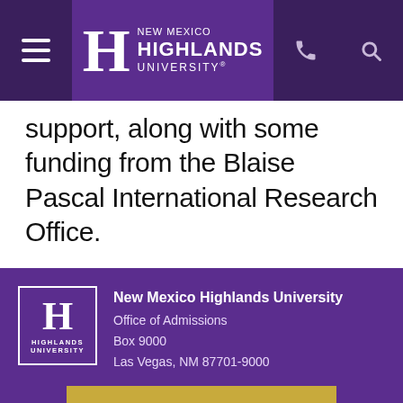New Mexico Highlands University
support, along with some funding from the Blaise Pascal International Research Office.
[Figure (logo): New Mexico Highlands University logo with H monogram in white square border on purple background]
New Mexico Highlands University
Office of Admissions
Box 9000
Las Vegas, NM 87701-9000
APPLY NOW →
MOST POPULAR